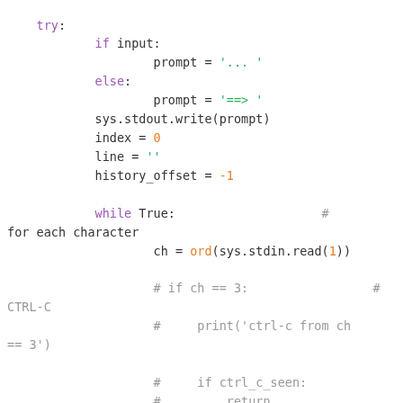[Figure (screenshot): Syntax-highlighted Python source code snippet showing a try block with if/else for prompt assignment, sys.stdout.write, index/line/history_offset initialization, a while True loop reading stdin character by character, and commented-out ctrl-c handling code.]